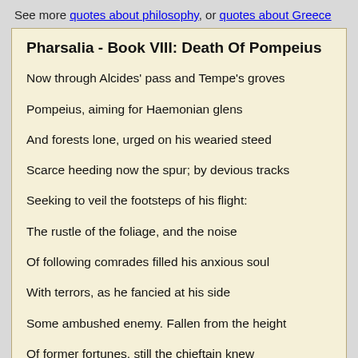See more quotes about philosophy, or quotes about Greece
Pharsalia - Book VIII: Death Of Pompeius
Now through Alcides' pass and Tempe's groves
Pompeius, aiming for Haemonian glens
And forests lone, urged on his wearied steed
Scarce heeding now the spur; by devious tracks
Seeking to veil the footsteps of his flight:
The rustle of the foliage, and the noise
Of following comrades filled his anxious soul
With terrors, as he fancied at his side
Some ambushed enemy. Fallen from the height
Of former fortunes, still the chieftain knew
His life not worthless; mindful of the fates:
And 'gainst the price he set on Caesar's head,
He measures Caesar's value of his own.

Yet, as he rode, the features of the chief
Made known his ruin. Many as they sought